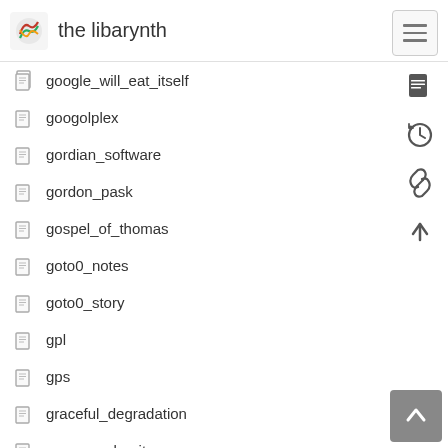the libarynth
google_will_eat_itself
googolplex
gordian_software
gordon_pask
gospel_of_thomas
goto0_notes
goto0_story
gpl
gps
graceful_degradation
grace_and_grit
grace_murray_hopper
graphic_art
graphviz
graph_drawing
graph_layout
gravitys_rainbow
grazing_hermits